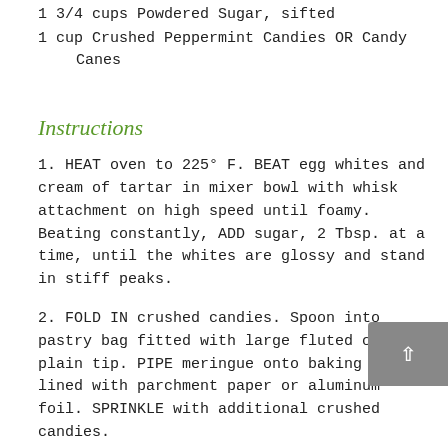1 3/4 cups Powdered Sugar, sifted
1 cup Crushed Peppermint Candies OR Candy Canes
Instructions
1. HEAT oven to 225° F. BEAT egg whites and cream of tartar in mixer bowl with whisk attachment on high speed until foamy. Beating constantly, ADD sugar, 2 Tbsp. at a time, until the whites are glossy and stand in stiff peaks.
2. FOLD IN crushed candies. Spoon into pastry bag fitted with large fluted or plain tip. PIPE meringue onto baking sheets lined with parchment paper or aluminum foil. SPRINKLE with additional crushed candies.
3. BAKE in 225° F oven until firm, about 1 hour. Turn off oven. LET DRY in oven, with door closed, until